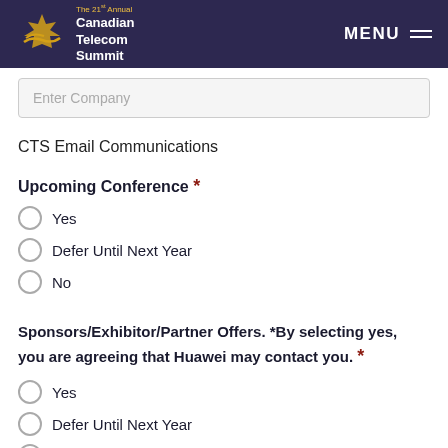The 21st Annual Canadian Telecom Summit — MENU
Enter Company
CTS Email Communications
Upcoming Conference *
Yes
Defer Until Next Year
No
Sponsors/Exhibitor/Partner Offers. *By selecting yes, you are agreeing that Huawei may contact you. *
Yes
Defer Until Next Year
No